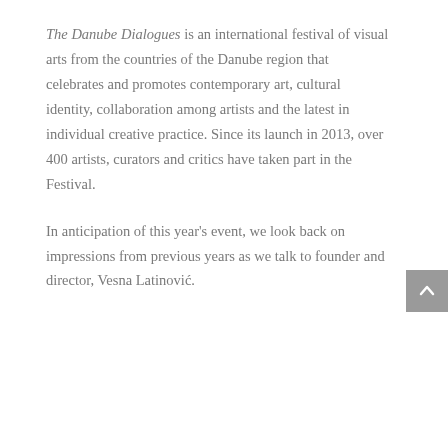The Danube Dialogues is an international festival of visual arts from the countries of the Danube region that celebrates and promotes contemporary art, cultural identity, collaboration among artists and the latest in individual creative practice. Since its launch in 2013, over 400 artists, curators and critics have taken part in the Festival.
In anticipation of this year's event, we look back on impressions from previous years as we talk to founder and director, Vesna Latinović.